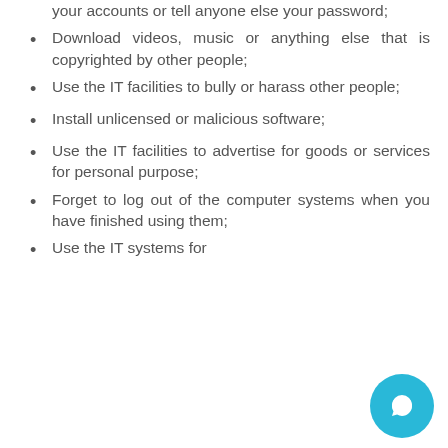your accounts or tell anyone else your password;
Download videos, music or anything else that is copyrighted by other people;
Use the IT facilities to bully or harass other people;
Install unlicensed or malicious software;
Use the IT facilities to advertise for goods or services for personal purpose;
Forget to log out of the computer systems when you have finished using them;
Use the IT systems for